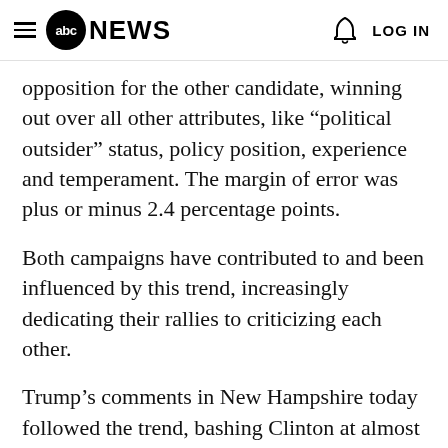abc NEWS  LOG IN
opposition for the other candidate, winning out over all other attributes, like “political outsider” status, policy position, experience and temperament. The margin of error was plus or minus 2.4 percentage points.
Both campaigns have contributed to and been influenced by this trend, increasingly dedicating their rallies to criticizing each other.
Trump’s comments in New Hampshire today followed the trend, bashing Clinton at almost every juncture. He referenced Clinton’s and Bernie Sanders’ rally in the state the previous